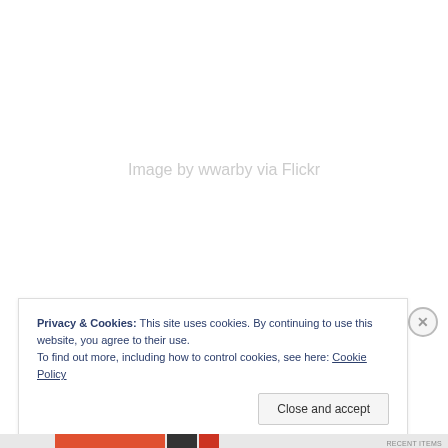[Figure (photo): Empty white area representing a placeholder image with attribution text 'Image by wwarby via Flickr' in light gray]
Image by wwarby via Flickr
Privacy & Cookies: This site uses cookies. By continuing to use this website, you agree to their use.
To find out more, including how to control cookies, see here: Cookie Policy
Close and accept